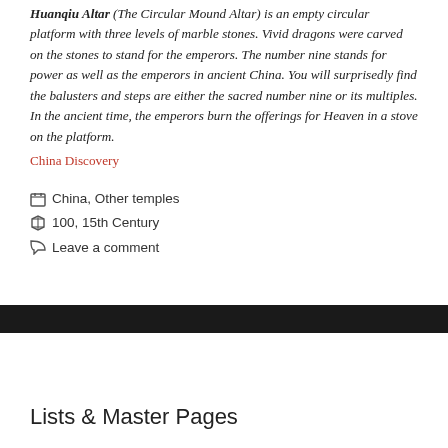Huanqiu Altar (The Circular Mound Altar) is an empty circular platform with three levels of marble stones. Vivid dragons were carved on the stones to stand for the emperors. The number nine stands for power as well as the emperors in ancient China. You will surprisedly find the balusters and steps are either the sacred number nine or its multiples. In the ancient time, the emperors burn the offerings for Heaven in a stove on the platform.
China Discovery
China, Other temples
100, 15th Century
Leave a comment
Lists & Master Pages